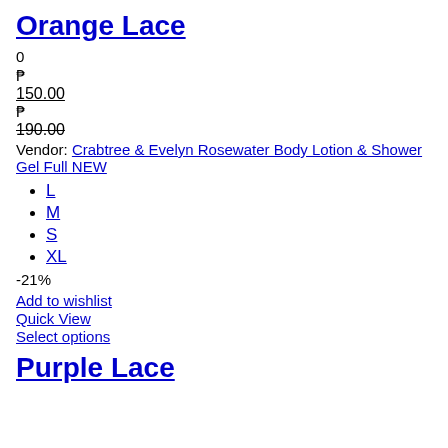Orange Lace
0
₱
150.00
₱
190.00
Vendor: Crabtree & Evelyn Rosewater Body Lotion & Shower Gel Full NEW
L
M
S
XL
-21%
Add to wishlist
Quick View
Select options
Purple Lace